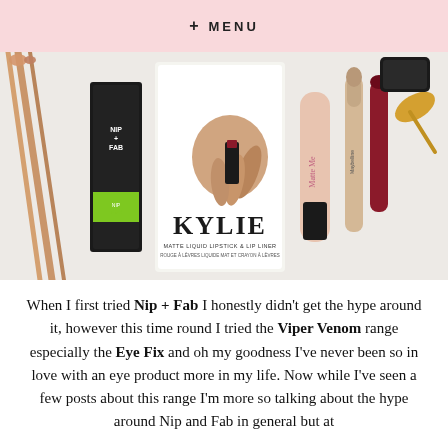+ MENU
[Figure (photo): Flat lay of beauty products on a white fluffy surface including a Nip+Fab box, a Kylie Matte Liquid Lipstick & Lip Liner box, a Matte Me liquid lipstick, a Maybelline concealer, rose gold makeup brushes, and other beauty items.]
When I first tried Nip + Fab I honestly didn't get the hype around it, however this time round I tried the Viper Venom range especially the Eye Fix and oh my goodness I've never been so in love with an eye product more in my life. Now while I've seen a few posts about this range I'm more so talking about the hype around Nip and Fab in general but at